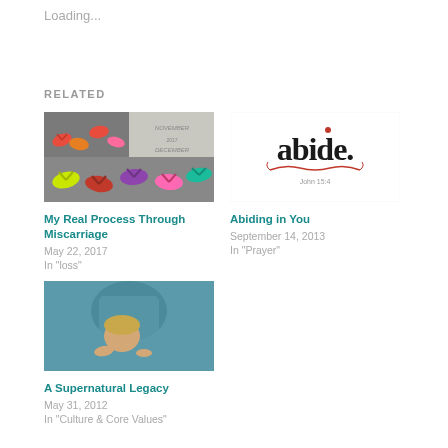Loading...
RELATED
[Figure (photo): Collage of colorful flip-flops in two rows, with 'November' and 'December' written on a stone]
My Real Process Through Miscarriage
May 22, 2017
In "loss"
[Figure (logo): Abide logo with stylized text 'abide.' and red decorative elements, John 15:4 reference]
Abiding in You
September 14, 2013
In "Prayer"
[Figure (photo): Person wearing a blue shirt holding a child with blonde hair]
A Supernatural Legacy
May 31, 2012
In "Culture & Core Values"